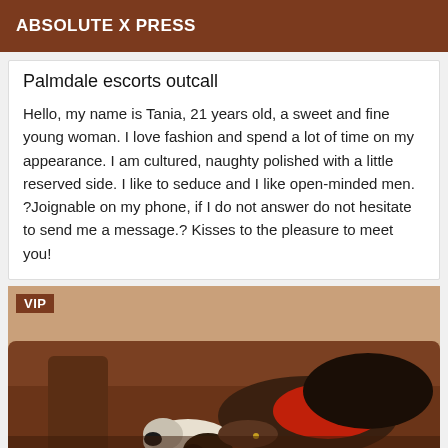ABSOLUTE X PRESS
Palmdale escorts outcall
Hello, my name is Tania, 21 years old, a sweet and fine young woman. I love fashion and spend a lot of time on my appearance. I am cultured, naughty polished with a little reserved side. I like to seduce and I like open-minded men. ?Joignable on my phone, if I do not answer do not hesitate to send me a message.? Kisses to the pleasure to meet you!
[Figure (photo): Photo of a woman reclining on a brown couch wearing red clothing, with dark hair, with a VIP badge overlay in the top-left corner.]